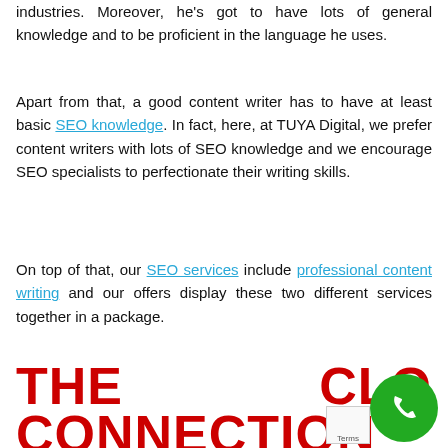industries. Moreover, he's got to have lots of general knowledge and to be proficient in the language he uses.
Apart from that, a good content writer has to have at least basic SEO knowledge. In fact, here, at TUYA Digital, we prefer content writers with lots of SEO knowledge and we encourage SEO specialists to perfectionate their writing skills.
On top of that, our SEO services include professional content writing and our offers display these two different services together in a package.
THE CONNECTION CL...